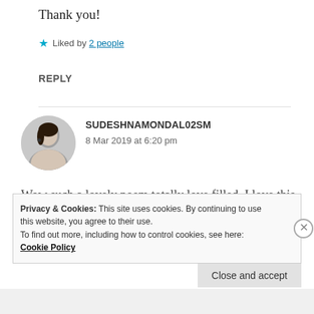Thank you!
★ Liked by 2 people
REPLY
SUDESHNAMONDAL02SM
8 Mar 2019 at 6:20 pm
Wow such a lovely poem totally love filled. I love this so much ❤❤
Privacy & Cookies: This site uses cookies. By continuing to use this website, you agree to their use.
To find out more, including how to control cookies, see here: Cookie Policy
Close and accept